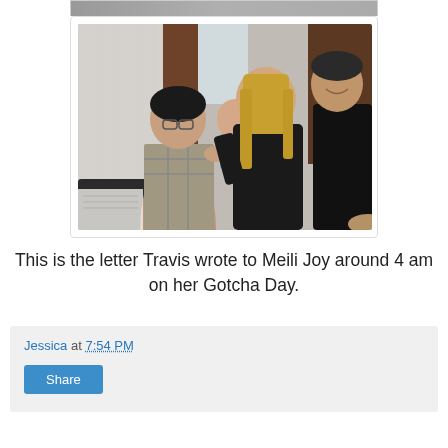[Figure (photo): Indoor scene showing a woman handing a baby to another woman with blonde hair dressed in black, with a man smiling in the background, in what appears to be an official or hotel lobby setting.]
This is the letter Travis wrote to Meili Joy around 4 am on her Gotcha Day.
Jessica at 7:54 PM
Share